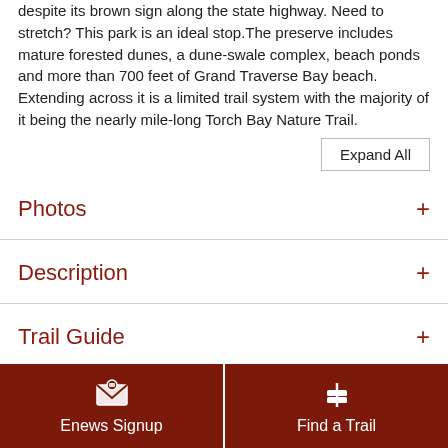despite its brown sign along the state highway. Need to stretch? This park is an ideal stop.The preserve includes mature forested dunes, a dune-swale complex, beach ponds and more than 700 feet of Grand Traverse Bay beach. Extending across it is a limited trail system with the majority of it being the nearly mile-long Torch Bay Nature Trail.
Expand All
Photos
Description
Trail Guide
Facilities
Enews Signup
Find a Trail